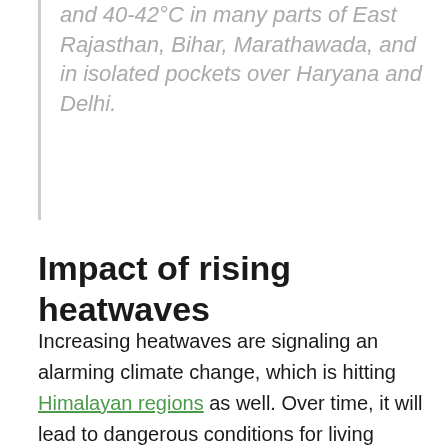and 40-42°C in many parts of East Rajasthan, Bihar, Marathawada, and in isolated pockets over Haryana and Delhi.
Impact of rising heatwaves
Increasing heatwaves are signaling an alarming climate change, which is hitting Himalayan regions as well. Over time, it will lead to dangerous conditions for living organisms to survive. Majorly, the heatwaves are hazardous to daily wage workers, street vendors, rickshaw drivers, and homeless people. It's because most of them work out in extremely hot conditions and are exposed to the